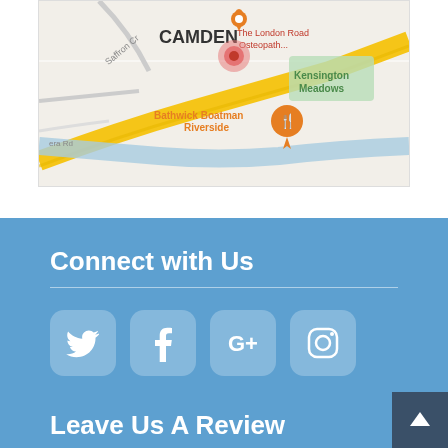[Figure (map): Google Maps showing Camden area with location pin for The London Road Osteopathy, Kensington Meadows, Bathwick Boatman Riverside restaurant marker, Saffron Cr road, yellow main road, blue river, green park area]
Connect with Us
[Figure (infographic): Four social media icons on rounded square backgrounds: Twitter bird icon, Facebook f icon, Google+ icon, Instagram camera icon]
Leave Us A Review
We love getting feedback from patients. Plea...